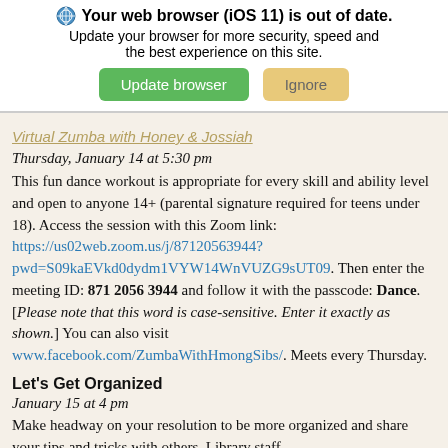[Figure (screenshot): Browser update notification banner with globe icon, bold text 'Your web browser (iOS 11) is out of date. Update your browser for more security, speed and the best experience on this site.' with green 'Update browser' button and tan 'Ignore' button.]
Virtual Zumba with Honey & Jossiah
Thursday, January 14 at 5:30 pm
This fun dance workout is appropriate for every skill and ability level and open to anyone 14+ (parental signature required for teens under 18). Access the session with this Zoom link: https://us02web.zoom.us/j/87120563944?pwd=S09kaEVkd0dydm1VYW14WnVUZG9sUT09. Then enter the meeting ID: 871 2056 3944 and follow it with the passcode: Dance. [Please note that this word is case-sensitive. Enter it exactly as shown.] You can also visit www.facebook.com/ZumbaWithHmongSibs/. Meets every Thursday.
Let's Get Organized
January 15 at 4 pm
Make headway on your resolution to be more organized and share your tips and tricks with others. Library staff